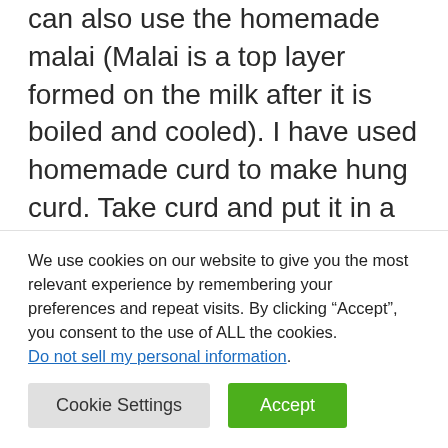can also use the homemade malai (Malai is a top layer formed on the milk after it is boiled and cooled). I have used homemade curd to make hung curd. Take curd and put it in a muslin cloth or soft cotton cloth. Put the cloth and curd in the strainer in a bowl. The water from the curd will drain from the cloth. Keep it around 1 hour in the refrigerator to avoid getting sour. You can also use plain greek yogurt or cream cheese instead.
We use cookies on our website to give you the most relevant experience by remembering your preferences and repeat visits. By clicking “Accept”, you consent to the use of ALL the cookies. Do not sell my personal information.